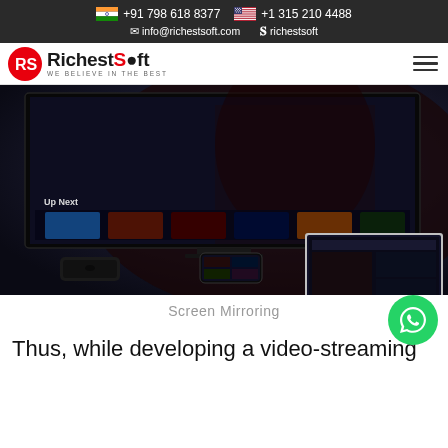+91 798 618 8377  +1 315 210 4488  info@richestsoft.com  richestsoft
RichestSoft - WE BELIEVE IN THE BEST
[Figure (screenshot): Video streaming app screenshot showing Apple TV, laptop, phone displaying movie streaming UI with 'Screen Mirroring' caption and WhatsApp contact button]
Screen Mirroring
Thus, while developing a video-streaming